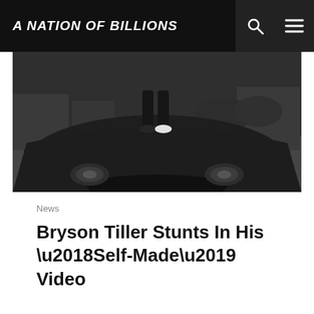A NATION OF BILLIONS
[Figure (photo): Black and white photo of a dark sports car shot from a low front angle, person's legs visible standing on the hood, urban background]
News
Bryson Tiller Stunts In His ‘Self-Made’ Video